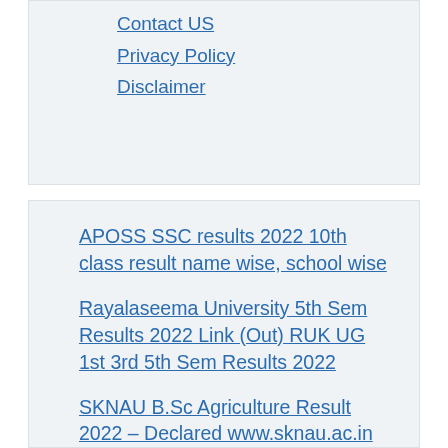Contact US
Privacy Policy
Disclaimer
APOSS SSC results 2022 10th class result name wise, school wise
Rayalaseema University 5th Sem Results 2022 Link (Out) RUK UG 1st 3rd 5th Sem Results 2022
SKNAU B.Sc Agriculture Result 2022 – Declared www.sknau.ac.in
Telangana DCCB Mains Hall Ticket 2022 Out, TSCAB Admit Card